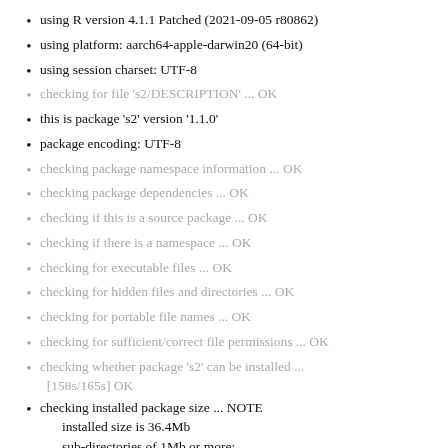using R version 4.1.1 Patched (2021-09-05 r80862)
using platform: aarch64-apple-darwin20 (64-bit)
using session charset: UTF-8
checking for file ‘s2/DESCRIPTION’ ... OK
this is package ‘s2’ version ‘1.1.0’
package encoding: UTF-8
checking package namespace information ... OK
checking package dependencies ... OK
checking if this is a source package ... OK
checking if there is a namespace ... OK
checking for executable files ... OK
checking for hidden files and directories ... OK
checking for portable file names ... OK
checking for sufficient/correct file permissions ... OK
checking whether package ‘s2’ can be installed ... [158s/165s] OK
checking installed package size ... NOTE
  installed size is 36.4Mb
  sub-directories of 1Mb or more:
    libs 35.3Mb
checking package directory ... OK
checking DESCRIPTION meta-information ... OK
checking top-level files ... OK
checking for left-over files ... OK